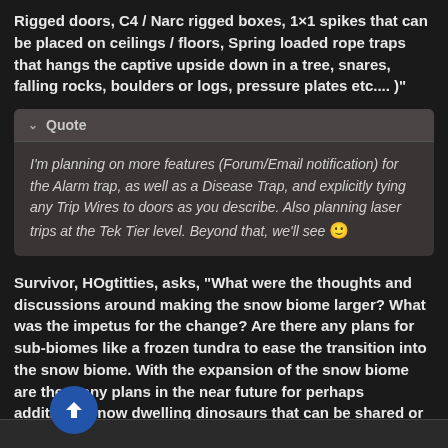Rigged doors, C4 / Narc rigged boxes, 1×1 spikes that can be placed on ceilings / floors, Spring loaded rope traps that hangs the captive upside down in a tree, snares, falling rocks, boulders or logs, pressure plates etc.... )"
Quote
I'm planning on more features (Forum/Email notification) for the Alarm trap, as well as a Disease Trap, and explicitly tying any Trip Wires to doors as you describe. Also planning laser trips at the Tek Tier level. Beyond that, we'll see 🙂
Survivor, HOgtitties, asks, "What were the thoughts and discussions around making the snow biome larger? What was the impetus for the change? Are there any plans for sub-biomes like a frozen tundra to ease the transition into the snow biome. With the expansion of the snow biome are there any plans in the near future for perhaps additional snow dwelling dinosaurs that can be shared or teased?"